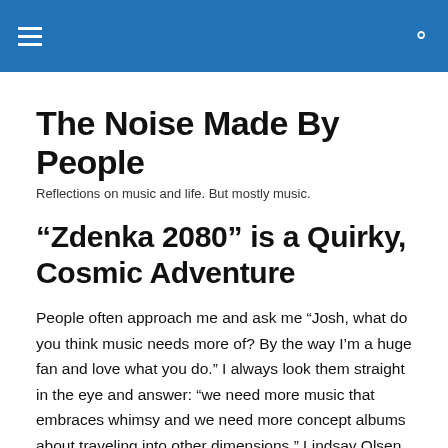≡ 🔍
The Noise Made By People
Reflections on music and life. But mostly music.
“Zdenka 2080” is a Quirky, Cosmic Adventure
People often approach me and ask me “Josh, what do you think music needs more of? By the way I’m a huge fan and love what you do.” I always look them straight in the eye and answer: “we need more music that embraces whimsy and we need more concept albums about traveling into other dimensions.” Lindsay Olsen, who records as Salami